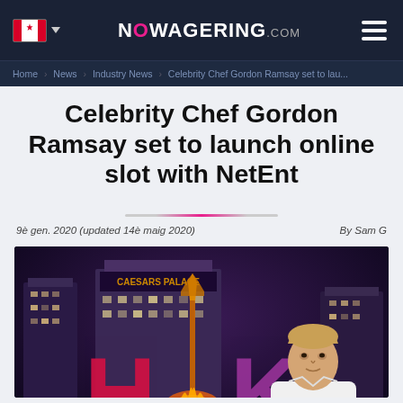NOWAGERING.com
Home > News > Industry News > Celebrity Chef Gordon Ramsay set to lau...
Celebrity Chef Gordon Ramsay set to launch online slot with NetEnt
9è gen. 2020 (updated 14è maig 2020)   By Sam G
[Figure (photo): Gordon Ramsay standing with arms crossed in front of illuminated HK (Hell's Kitchen) sign at night, with Caesars Palace Las Vegas in background]